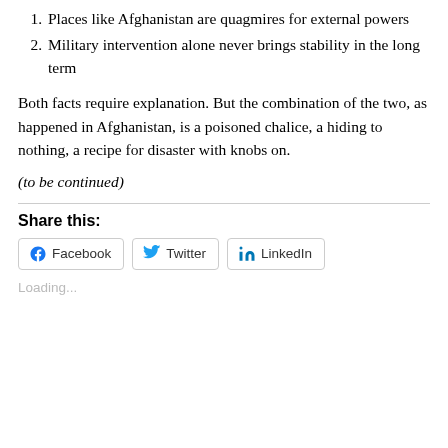1. Places like Afghanistan are quagmires for external powers
2. Military intervention alone never brings stability in the long term
Both facts require explanation. But the combination of the two, as happened in Afghanistan, is a poisoned chalice, a hiding to nothing, a recipe for disaster with knobs on.
(to be continued)
Share this:
Facebook  Twitter  LinkedIn
Loading...